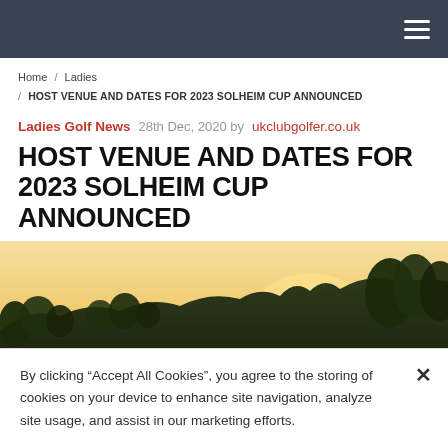Navigation bar with hamburger menu
Home / Ladies / HOST VENUE AND DATES FOR 2023 SOLHEIM CUP ANNOUNCED
Ladies Golf News   28th Dec, 2020 by ukclubgolfer.co.uk
HOST VENUE AND DATES FOR 2023 SOLHEIM CUP ANNOUNCED
[Figure (photo): Landscape photo of a golf course at sunset with trees and golden sky]
By clicking “Accept All Cookies”, you agree to the storing of cookies on your device to enhance site navigation, analyze site usage, and assist in our marketing efforts.